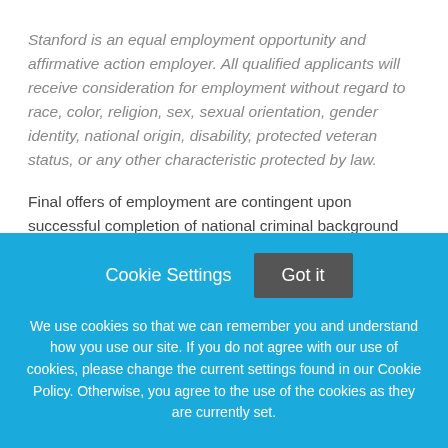Stanford is an equal employment opportunity and affirmative action employer. All qualified applicants will receive consideration for employment without regard to race, color, religion, sex, sexual orientation, gender identity, national origin, disability, protected veteran status, or any other characteristic protected by law.
Final offers of employment are contingent upon successful completion of national criminal background check, national sex offender registry search and, where applicable, driving
Cookie Settings
Got it
We use cookies so that we can remember you and understand how you use our site. If you do not agree with our use of cookies, please change the current settings found in our Cookie Policy. Otherwise, you agree to the use of the cookies as they are currently set.